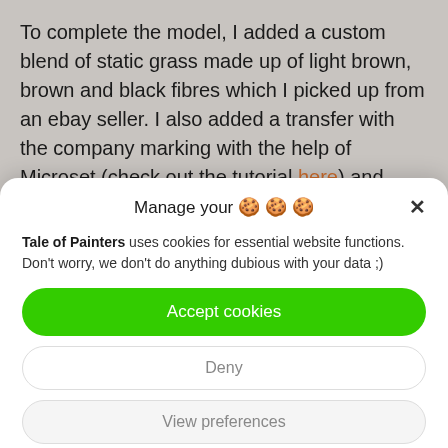To complete the model, I added a custom blend of static grass made up of light brown, brown and black fibres which I picked up from an ebay seller. I also added a transfer with the company marking with the help of Microset (check out the tutorial here) and applied a coat of matt varnish.
Manage your 🍪🍪🍪 ×
Tale of Painters uses cookies for essential website functions. Don't worry, we don't do anything dubious with your data ;)
Accept cookies
Deny
View preferences